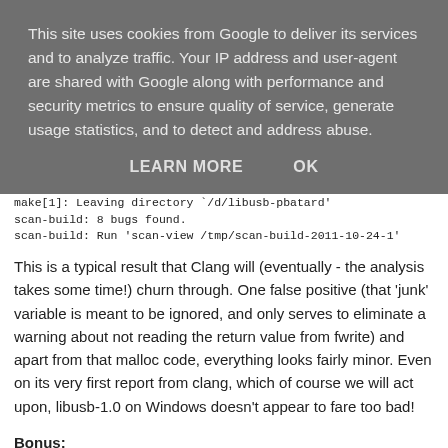This site uses cookies from Google to deliver its services and to analyze traffic. Your IP address and user-agent are shared with Google along with performance and security metrics to ensure quality of service, generate usage statistics, and to detect and address abuse.
LEARN MORE   OK
make[1]: Leaving directory `/d/libusb-pbatard'
scan-build: 8 bugs found.
scan-build: Run 'scan-view /tmp/scan-build-2011-10-24-1'
This is a typical result that Clang will (eventually - the analysis takes some time!) churn through. One false positive (that 'junk' variable is meant to be ignored, and only serves to eliminate a warning about not reading the return value from fwrite) and apart from that malloc code, everything looks fairly minor. Even on its very first report from clang, which of course we will act upon, libusb-1.0 on Windows doesn't appear to fare too bad!
Bonus:
If you followed the guide above, chances are you'll be using